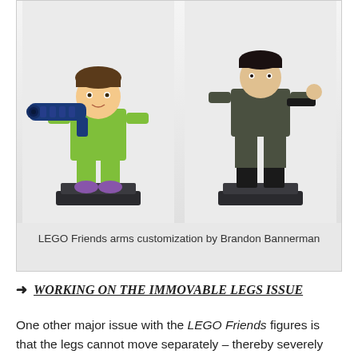[Figure (photo): Two LEGO Friends figures side by side on black display stands against a light gray background. The left figure holds a large blue bazooka/cannon weapon and has green clothing and purple/pink legs. The right figure wears dark olive/military clothing and holds a black weapon, also on a black display stand.]
LEGO Friends arms customization by Brandon Bannerman
WORKING ON THE IMMOVABLE LEGS ISSUE
One other major issue with the LEGO Friends figures is that the legs cannot move separately – thereby severely limiting the poseability of the figures. Below you can see Flickr member king (BadBranon) having done some work on this